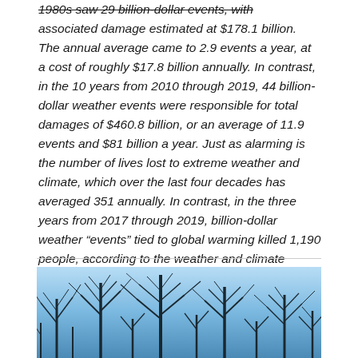1980s saw 29 billion-dollar events, with associated damage estimated at $178.1 billion. The annual average came to 2.9 events a year, at a cost of roughly $17.8 billion annually. In contrast, in the 10 years from 2010 through 2019, 44 billion-dollar weather events were responsible for total damages of $460.8 billion, or an average of 11.9 events and $81 billion a year. Just as alarming is the number of lives lost to extreme weather and climate, which over the last four decades has averaged 351 annually. In contrast, in the three years from 2017 through 2019, billion-dollar weather “events” tied to global warming killed 1,190 people, according to the weather and climate center…"
[Figure (photo): A photograph of bare winter trees silhouetted against a light blue sky, taken from below looking up.]